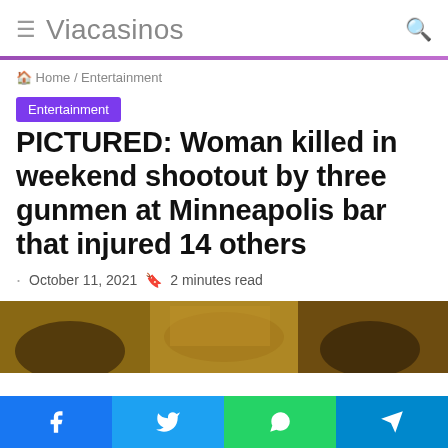Viacasinos
Home / Entertainment
Entertainment
PICTURED: Woman killed in weekend shootout by three gunmen at Minneapolis bar that injured 14 others
October 11, 2021  2 minutes read
[Figure (photo): Photo of a person outdoors with natural background]
Social share bar: Facebook, Twitter, WhatsApp, Telegram